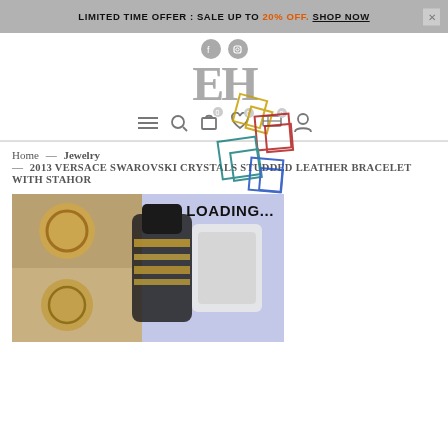LIMITED TIME OFFER : SALE UP TO 20% OFF. SHOP NOW
[Figure (logo): EH brand logo with social media icons (Facebook, Instagram) above and navigation bar below including hamburger menu, search, bag, wishlist, filters, and profile icons. A colorful geometric diamond/cross pattern overlay is present.]
Home → Jewelry → 2013 VERSACE SWAROVSKI CRYSTALS STUDDED LEATHER BRACELET WITH STAHOR
[Figure (photo): Product photo showing a Versace leather bracelet with Swarovski crystals and gold-tone decorative elements. Image shows LOADING... text overlay with blue-purple background.]